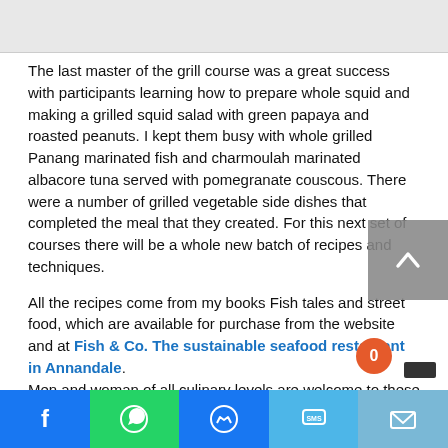[Figure (other): Light gray banner/header image area at top of page]
The last master of the grill course was a great success with participants learning how to prepare whole squid and making a grilled squid salad with green papaya and roasted peanuts. I kept them busy with whole grilled Panang marinated fish and charmoulah marinated albacore tuna served with pomegranate couscous. There were a number of grilled vegetable side dishes that completed the meal that they created. For this next set of courses there will be a whole new batch of recipes and techniques.
All the recipes come from my books Fish tales and street food, which are available for purchase from the website and at Fish & Co. The sustainable seafood restaurant in Annandale. Men and woman of all culinary levels are welcome to these inspirational, hands on and fun cooking classes From the tentative cook with no experience to the enthusiastic foodie. Come along and get stuck in.
[Figure (other): Social media share bar at the bottom with Facebook, WhatsApp, Messenger, SMS, and Email icons]
[Figure (other): Scroll-to-top button (grey box with up arrow) on right side]
[Figure (other): Orange notification badge with number 0]